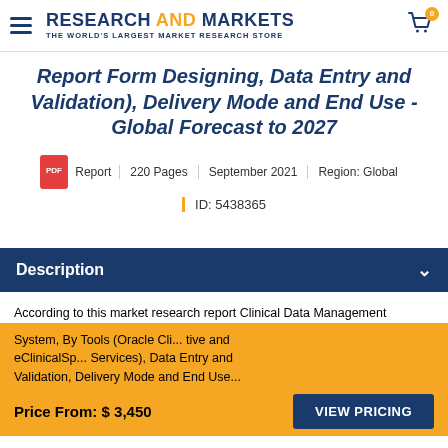RESEARCH AND MARKETS THE WORLD'S LARGEST MARKET RESEARCH STORE
Report Form Designing, Data Entry and Validation), Delivery Mode and End Use - Global Forecast to 2027
Report | 220 Pages | September 2021 | Region: Global
ID: 5438365
Description
According to this market research report Clinical Data Management System, By Tools (Oracle Cli... tive and eClinicalSp... Services), Data Entry and Validation, Delivery Mode and End Use...
Price From: $ 3,450